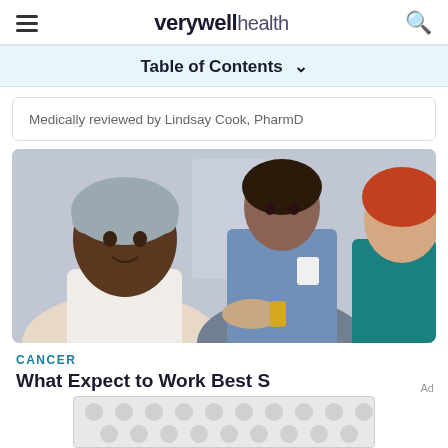verywell health
Table of Contents
Medically reviewed by Lindsay Cook, PharmD
[Figure (photo): Three women in a medical setting: a patient wearing a head wrap, a supporter holding a cup, and a healthcare provider handing something to the patient.]
CANCER
What Expect...Work Best S